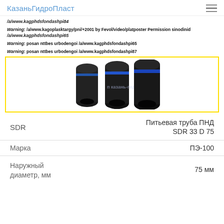КазаньГидроПласт
/a/www.kagphdsfondashpi84
Warning: /a/www.kagoplasktargy/pni/+2001 by Fevol/video/platposter Permission /a/www.kagphdsfondashpi85
Warning: posan nttbes urbodengoi /a/www.kagphdsfondashpi65
Warning: posan nttbes urbodengoi /a/www.kagphdsfondashpi87
[Figure (photo): Three black HDPE (PND) pipes with blue stripe, shown end-on at an angle, inside a yellow-bordered box]
| SDR | Питьевая труба ПНД SDR 33 D 75 |
| Марка | ПЭ-100 |
| Наружный диаметр, мм | 75 мм |